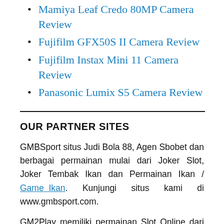Mamiya Leaf Credo 80MP Camera Review
Fujifilm GFX50S II Camera Review
Fujifilm Instax Mini 11 Camera Review
Panasonic Lumix S5 Camera Review
OUR PARTNER SITES
GMBSport situs Judi Bola 88, Agen Sbobet dan berbagai permainan mulai dari Joker Slot, Joker Tembak Ikan dan Permainan Ikan / Game Ikan. Kunjungi situs kami di www.gmbsport.com.
GM2Play memiliki permainan Slot Online dari IDN Slot dan Slot 777. Anda dapat mulai